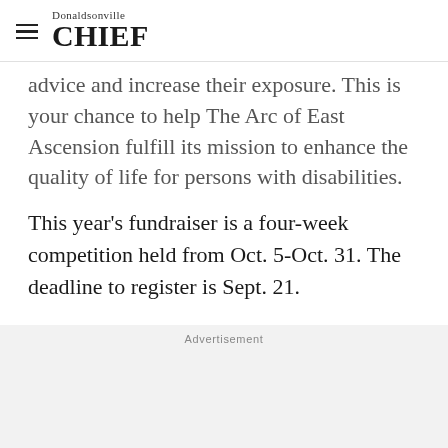Donaldsonville CHIEF
...advice and increase their exposure. This is your chance to help The Arc of East Ascension fulfill its mission to enhance the quality of life for persons with disabilities.
This year's fundraiser is a four-week competition held from Oct. 5-Oct. 31. The deadline to register is Sept. 21.
Advertisement